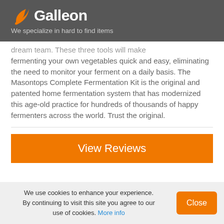Galleon — We specialize in hard to find items
dream team. These three tools will make fermenting your own vegetables quick and easy, eliminating the need to monitor your ferment on a daily basis. The Masontops Complete Fermentation Kit is the original and patented home fermentation system that has modernized this age-old practice for hundreds of thousands of happy fermenters across the world. Trust the original.
[Figure (other): View Reviews button — orange rectangular button with white text]
We use cookies to enhance your experience. By continuing to visit this site you agree to our use of cookies. More info — Close button